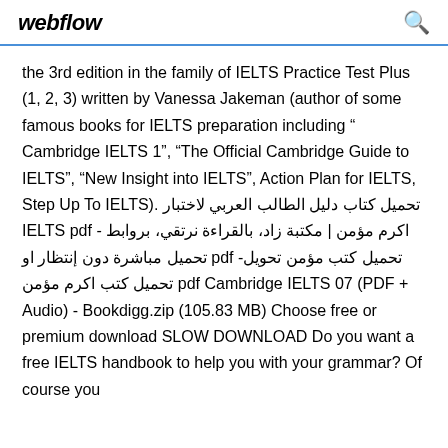webflow
the 3rd edition in the family of IELTS Practice Test Plus (1, 2, 3) written by Vanessa Jakeman (author of some famous books for IELTS preparation including “ Cambridge IELTS 1”, “The Official Cambridge Guide to IELTS”, “New Insight into IELTS”, Action Plan for IELTS, Step Up To IELTS). تحميل كتاب دليل الطالب العربي لاختبار IELTS pdf - اكرم مؤمن | مكتبة زاد، بالقراءة نرتقي، بروابط تحميل مباشرة دون إنتظار او pdf تحميل كتب مؤمن تحويل- تحميل كتب اكرم مؤمن pdf Cambridge IELTS 07 (PDF + Audio) - Bookdigg.zip (105.83 MB) Choose free or premium download SLOW DOWNLOAD Do you want a free IELTS handbook to help you with your grammar? Of course you